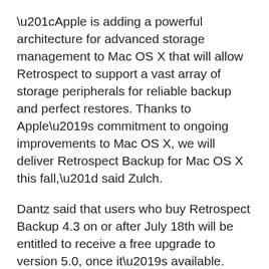“Apple is adding a powerful architecture for advanced storage management to Mac OS X that will allow Retrospect to support a vast array of storage peripherals for reliable backup and perfect restores. Thanks to Apple’s commitment to ongoing improvements to Mac OS X, we will deliver Retrospect Backup for Mac OS X this fall,” said Zulch.
Dantz said that users who buy Retrospect Backup 4.3 on or after July 18th will be entitled to receive a free upgrade to version 5.0, once it’s available. Upgrades to beefier Retrospect packages will also be available at a discount. Expect to hear about upgrade pricing when the product is released this fall.